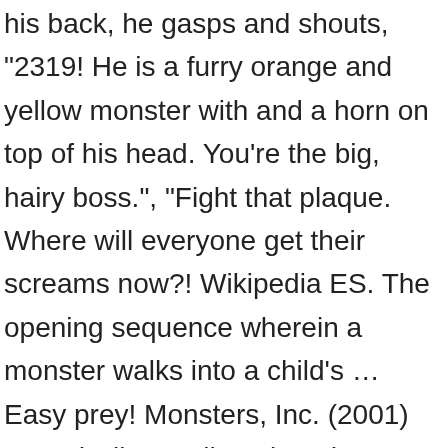his back, he gasps and shouts, "2319! He is a furry orange and yellow monster with and a horn on top of his head. You're the big, hairy boss.", "Fight that plaque. Where will everyone get their screams now?! Wikipedia ES. The opening sequence wherein a monster walks into a child's … Easy prey! Monsters, Inc. (2001) Sound Clips Trailer. I loved dodgeball! Temperature's a balmy 65 degrees - which is good news for you reptiles - and it looks like it's gonna be a perfect day to maybe, hey, just lie in bed, sleep in, or simply... WORK OUT THAT FLAB THAT'S HANGING OVER THE BED. In Monsters, Inc., George is a scarer on Scarefloor F at Monsters, Inc. He first appears in a commercial for Monsters, Inc. that Mike and Sulley watch in their apartment room. That's right, Boo! When he comes out of his door one day, he has a child's sock on his